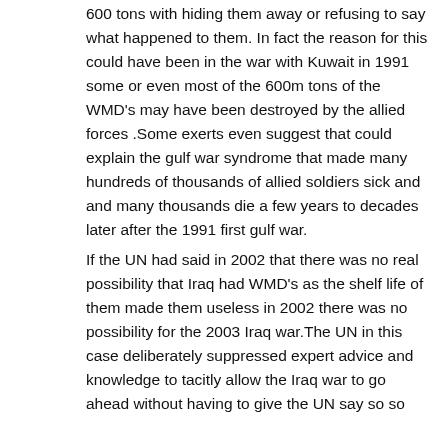600 tons with hiding them away or refusing to say what happened to them. In fact the reason for this could have been in the war with Kuwait in 1991 some or even most of the 600m tons of the WMD's may have been destroyed by the allied forces .Some exerts even suggest that could explain the gulf war syndrome that made many hundreds of thousands of allied soldiers sick and and many thousands die a few years to decades later after the 1991 first gulf war.
If the UN had said in 2002 that there was no real possibility that Iraq had WMD's as the shelf life of them made them useless in 2002 there was no possibility for the 2003 Iraq war.The UN in this case deliberately suppressed expert advice and knowledge to tacitly allow the Iraq war to go ahead without having to give the UN say so so